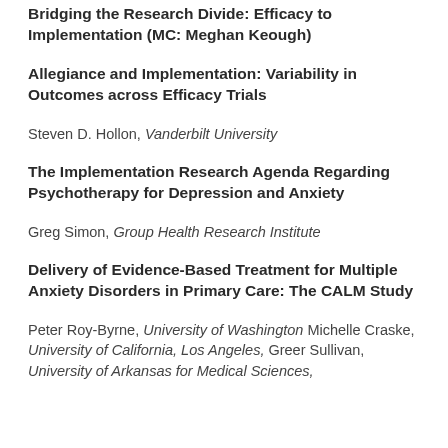Bridging the Research Divide: Efficacy to Implementation (MC: Meghan Keough)
Allegiance and Implementation: Variability in Outcomes across Efficacy Trials
Steven D. Hollon, Vanderbilt University
The Implementation Research Agenda Regarding Psychotherapy for Depression and Anxiety
Greg Simon, Group Health Research Institute
Delivery of Evidence-Based Treatment for Multiple Anxiety Disorders in Primary Care: The CALM Study
Peter Roy-Byrne, University of Washington Michelle Craske, University of California, Los Angeles, Greer Sullivan, University of Arkansas for Medical Sciences,